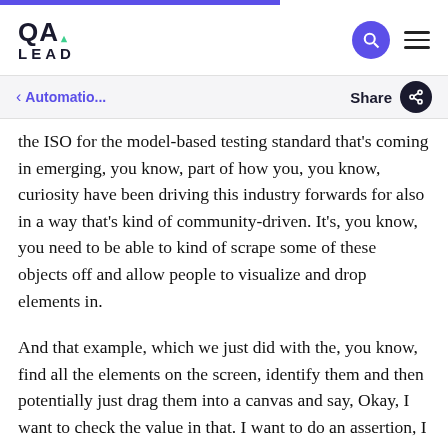QA LEAD
< Automatio...   Share
the ISO for the model-based testing standard that's coming in emerging, you know, part of how you, you know, curiosity have been driving this industry forwards for also in a way that's kind of community-driven. It's, you know, you need to be able to kind of scrape some of these objects off and allow people to visualize and drop elements in.
And that example, which we just did with the, you know, find all the elements on the screen, identify them and then potentially just drag them into a canvas and say, Okay, I want to check the value in that. I want to do an assertion, I want to see if the text is in that value. You